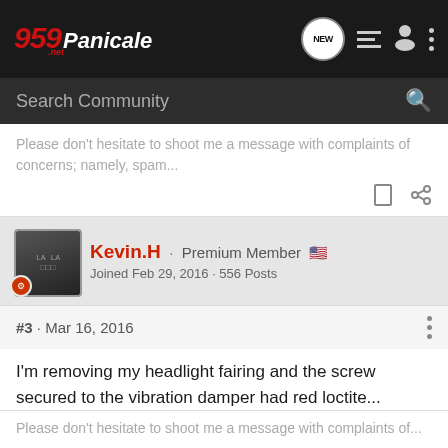959 Panicale.net — Navigation bar with logo, NEW bubble, list icon, user icon, dots menu
Search Community
Please don't hesitate to shoot me a message with complaints of concerns; namely, spam...
Kevin.H · Premium Member 🇺🇸
Joined Feb 29, 2016 · 556 Posts
#3 · Mar 16, 2016
I'm removing my headlight fairing and the screw secured to the vibration damper had red loctite...
Please don't hesitate to shoot me a message with complaints of...